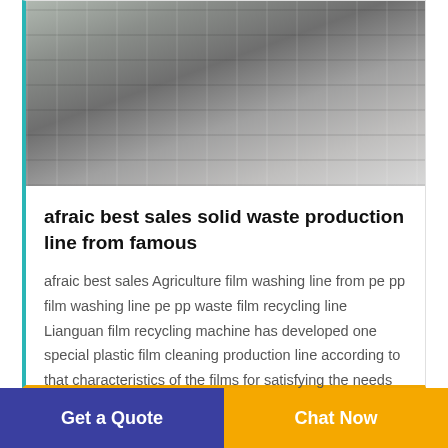[Figure (photo): Photo of compressed/baled plastic film waste materials, white and silver colored bundles strapped with black straps on a concrete floor]
afraic best sales solid waste production line from famous
afraic best sales Agriculture film washing line from pe pp film washing line pe pp waste film recycling line Lianguan film recycling machine has developed one special plastic film cleaning production line according to that characteristics of the films for satisfying the needs of different users and for the preparation of next cleaning processThe main equipment has pe film washing line pe pp
Get a Quote
Chat Now